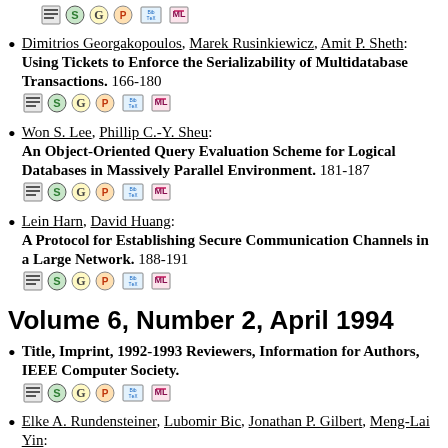[icons] (top)
Dimitrios Georgakopoulos, Marek Rusinkiewicz, Amit P. Sheth: Using Tickets to Enforce the Serializability of Multidatabase Transactions. 166-180 [icons]
Won S. Lee, Phillip C.-Y. Sheu: An Object-Oriented Query Evaluation Scheme for Logical Databases in Massively Parallel Environment. 181-187 [icons]
Lein Harn, David Huang: A Protocol for Establishing Secure Communication Channels in a Large Network. 188-191 [icons]
Volume 6, Number 2, April 1994
Title, Imprint, 1992-1993 Reviewers, Information for Authors, IEEE Computer Society. [icons]
Elke A. Rundensteiner, Lubomir Bic, Jonathan P. Gilbert, Meng-Lai Yin: